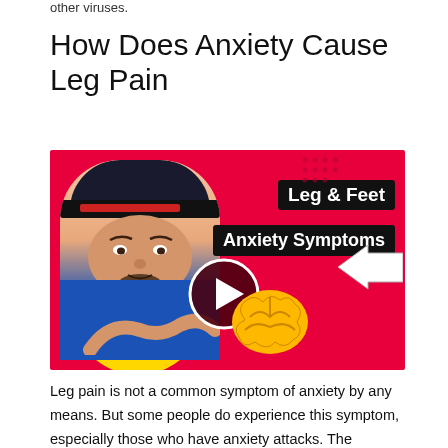other viruses.
How Does Anxiety Cause Leg Pain
[Figure (screenshot): YouTube video thumbnail showing a man in a blue shirt and black cap, with text 'Leg & Feet Anxiety Symptoms' on a red background, a brain illustration, an arrow, and a play button in the center.]
Leg pain is not a common symptom of anxiety by any means. But some people do experience this symptom, especially those who have anxiety attacks. The underlying